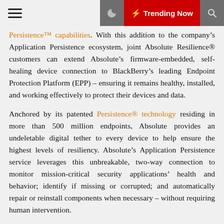☰  🌙  ⚡ Trending Now  🔍
Persistence™ capabilities. With this addition to the company's Application Persistence ecosystem, joint Absolute Resilience® customers can extend Absolute's firmware-embedded, self-healing device connection to BlackBerry's leading Endpoint Protection Platform (EPP) – ensuring it remains healthy, installed, and working effectively to protect their devices and data.
Anchored by its patented Persistence® technology residing in more than 500 million endpoints, Absolute provides an undeletable digital tether to every device to help ensure the highest levels of resiliency. Absolute's Application Persistence service leverages this unbreakable, two-way connection to monitor mission-critical security applications' health and behavior; identify if missing or corrupted; and automatically repair or reinstall components when necessary – without requiring human intervention.
Leveraging Cylance® AI and machine learning